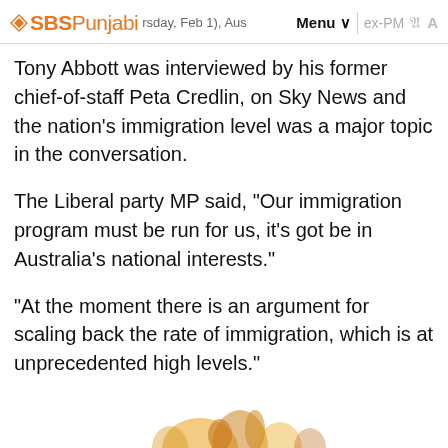SBS Punjabi | Thursday, Feb 1), Aus... Menu | ex-PM A
Tony Abbott was interviewed by his former chief-of-staff Peta Credlin, on Sky News and the nation's immigration level was a major topic in the conversation.
The Liberal party MP said, "Our immigration program must be run for us, it's got be in Australia's national interests."
"At the moment there is an argument for scaling back the rate of immigration, which is at unprecedented high levels."
[Figure (photo): Partial image of decorative elements at the bottom of the page, appears to show some orange/yellow leaves or floral elements]